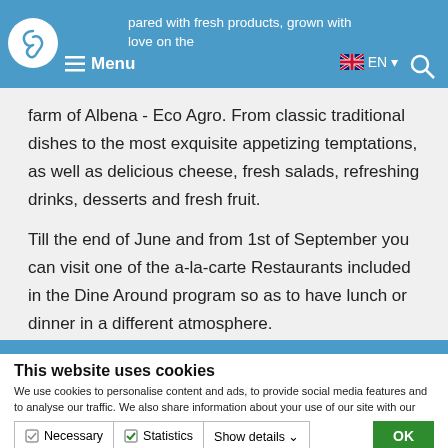pared with fresh products, grown with love on the farm of Albena - Eco Agro. Menu EN
farm of Albena - Eco Agro. From classic traditional dishes to the most exquisite appetizing temptations, as well as delicious cheese, fresh salads, refreshing drinks, desserts and fresh fruit.
Till the end of June and from 1st of September you can visit one of the a-la-carte Restaurants included in the Dine Around program so as to have lunch or dinner in a different atmosphere.
This website uses cookies
We use cookies to personalise content and ads, to provide social media features and to analyse our traffic. We also share information about your use of our site with our social media, advertising and analytics partners who may combine it with other information that you've provided to them or that they've collected from your use of their services. You consent to our cookies if you continue to use our website.